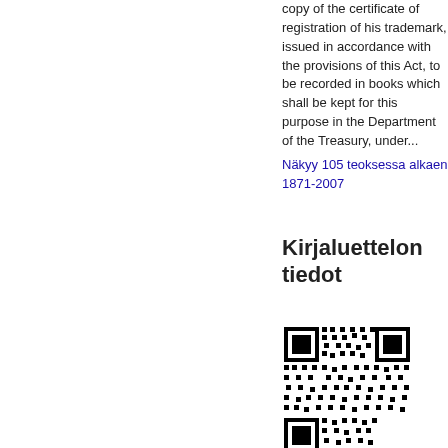copy of the certificate of registration of his trademark, issued in accordance with the provisions of this Act, to be recorded in books which shall be kept for this purpose in the Department of the Treasury, under...
Näkyy 105 teoksessa alkaen 1871-2007
Kirjaluettelon tiedot
[Figure (other): QR code linking to book catalog information]